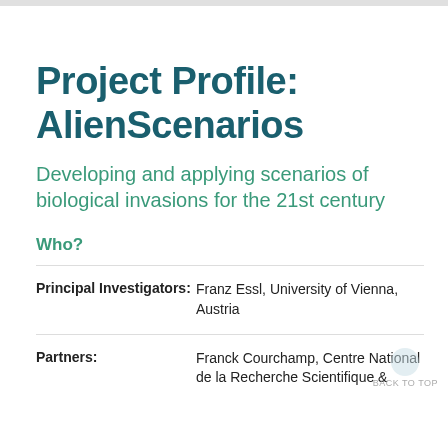Project Profile: AlienScenarios
Developing and applying scenarios of biological invasions for the 21st century
Who?
Principal Investigators: Franz Essl, University of Vienna, Austria
Partners: Franck Courchamp, Centre National de la Recherche Scientifique &